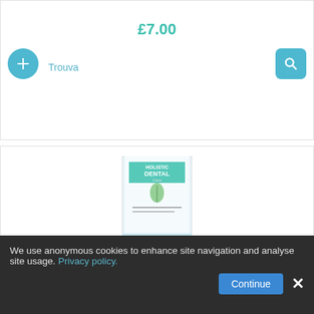£7.00
Trouva
[Figure (photo): Book cover of Holistic Dental Care: The Complete Guide to...]
Holistic Dental Care: The Complete Guide to...
£9.02
Amazon
[Figure (photo): Partial product image at bottom of page]
We use anonymous cookies to enhance site navigation and analyse site usage. Privacy policy.
Continue